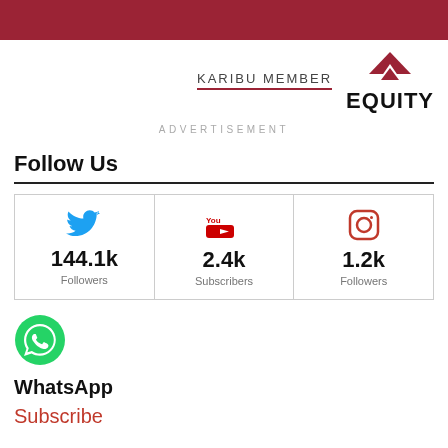[Figure (logo): Red banner header with Equity bank logo and 'KARIBU MEMBER' text]
ADVERTISEMENT
Follow Us
| Twitter | YouTube | Instagram |
| --- | --- | --- |
| 144.1k Followers | 2.4k Subscribers | 1.2k Followers |
[Figure (logo): WhatsApp green circle logo icon]
WhatsApp
Subscribe